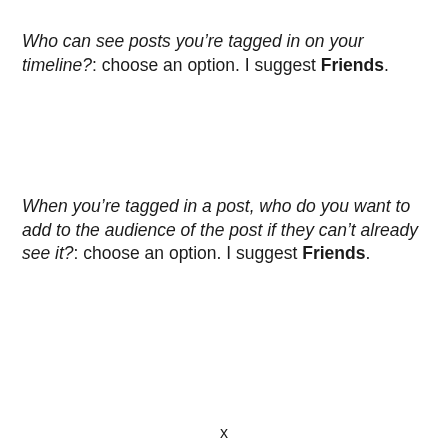Who can see posts you're tagged in on your timeline?: choose an option. I suggest Friends.
When you're tagged in a post, who do you want to add to the audience of the post if they can't already see it?: choose an option. I suggest Friends.
x